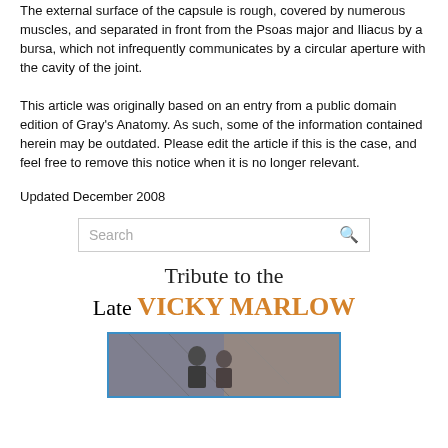The external surface of the capsule is rough, covered by numerous muscles, and separated in front from the Psoas major and Iliacus by a bursa, which not infrequently communicates by a circular aperture with the cavity of the joint.
This article was originally based on an entry from a public domain edition of Gray's Anatomy. As such, some of the information contained herein may be outdated. Please edit the article if this is the case, and feel free to remove this notice when it is no longer relevant.
Updated December 2008
[Figure (screenshot): Search box with placeholder text 'Search' and an orange search icon]
Tribute to the Late VICKY MARLOW
[Figure (photo): Photograph of two people, possibly at an industrial or transit facility, with blue border frame]